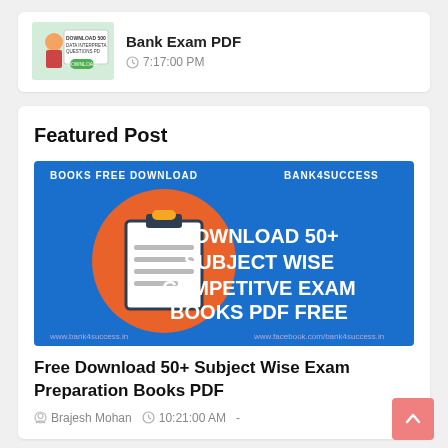[Figure (screenshot): Thumbnail image for a bank exam PDF post showing a character with data interpretation questions]
Bank Exam PDF
7:17:00 PM
Featured Post
[Figure (illustration): Blue banner image with clipboard icon reading: DOWNLOAD 50+ SUBJECT WISE COMPETITVE EXAM BOOKS PDF FREE. Top left: BOOKS FREE DOWNLOAD. Top right: BANK4SUCCESS.]
Free Download 50+ Subject Wise Exam Preparation Books PDF
Brajesh Mohan   10:21:00 AM  -